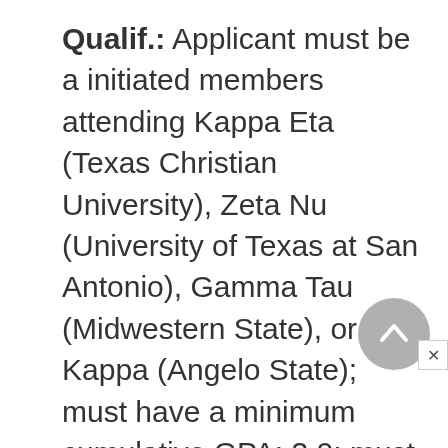Qualif.: Applicant must be a initiated members attending Kappa Eta (Texas Christian University), Zeta Nu (University of Texas at San Antonio), Gamma Tau (Midwestern State), or Zeta Kappa (Angelo State); must have a minimum cumulative GPA: 3.0; must have held or currently hold a Sorority position; must have demonstrate involvement in campus and community activities; must be in need of financial assistance. Criteria: Candidates will be selected based on